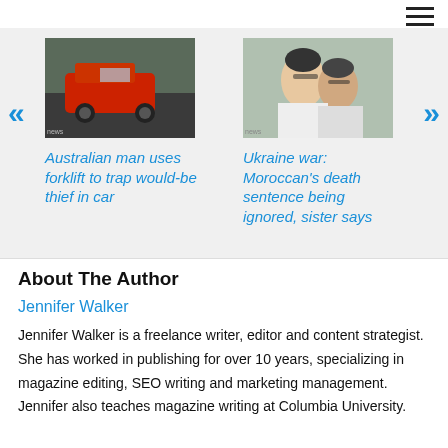[Figure (illustration): Thumbnail image of a red car in street scene]
Australian man uses forklift to trap would-be thief in car
[Figure (photo): Thumbnail image of two people, a selfie-style photo]
Ukraine war: Moroccan's death sentence being ignored, sister says
About The Author
Jennifer Walker
Jennifer Walker is a freelance writer, editor and content strategist. She has worked in publishing for over 10 years, specializing in magazine editing, SEO writing and marketing management. Jennifer also teaches magazine writing at Columbia University.